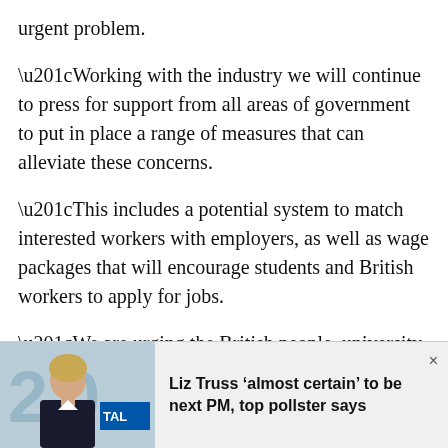urgent problem.
“Working with the industry we will continue to press for support from all areas of government to put in place a range of measures that can alleviate these concerns.
“This includes a potential system to match interested workers with employers, as well as wage packages that will encourage students and British workers to apply for jobs.
“We are urging the British people, university students, anyone looking for work, to mobilise behind British growers in this time of national importance and pick for Britain.
[Figure (photo): Photo of Liz Truss in a news article ad banner at the bottom of the page]
Liz Truss ‘almost certain’ to be next PM, top pollster says